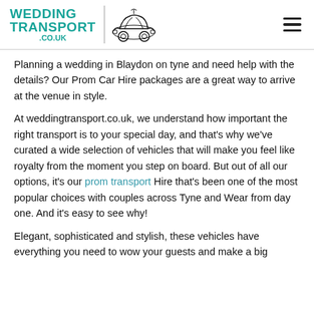WEDDING TRANSPORT .CO.UK
Planning a wedding in Blaydon on tyne and need help with the details? Our Prom Car Hire packages are a great way to arrive at the venue in style.
At weddingtransport.co.uk, we understand how important the right transport is to your special day, and that’s why we’ve curated a wide selection of vehicles that will make you feel like royalty from the moment you step on board. But out of all our options, it’s our prom transport Hire that’s been one of the most popular choices with couples across Tyne and Wear from day one. And it’s easy to see why!
Elegant, sophisticated and stylish, these vehicles have everything you need to wow your guests and make a big